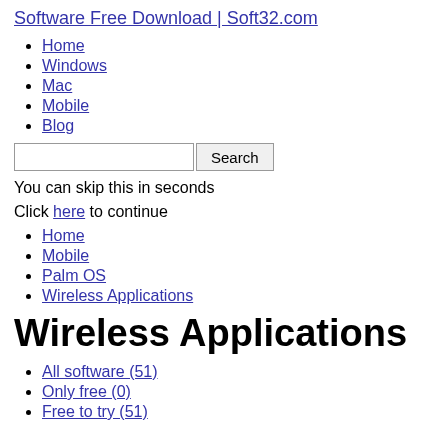Software Free Download | Soft32.com
Home
Windows
Mac
Mobile
Blog
You can skip this in seconds
Click here to continue
Home
Mobile
Palm OS
Wireless Applications
Wireless Applications
All software (51)
Only free (0)
Free to try (51)